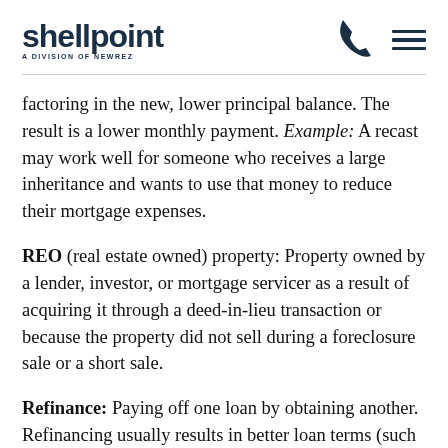shellpoint — A Division of NewRez
factoring in the new, lower principal balance. The result is a lower monthly payment. Example: A recast may work well for someone who receives a large inheritance and wants to use that money to reduce their mortgage expenses.
REO (real estate owned) property: Property owned by a lender, investor, or mortgage servicer as a result of acquiring it through a deed-in-lieu transaction or because the property did not sell during a foreclosure sale or a short sale.
Refinance: Paying off one loan by obtaining another. Refinancing usually results in better loan terms (such as a lower interest rate) and a lower mortgage